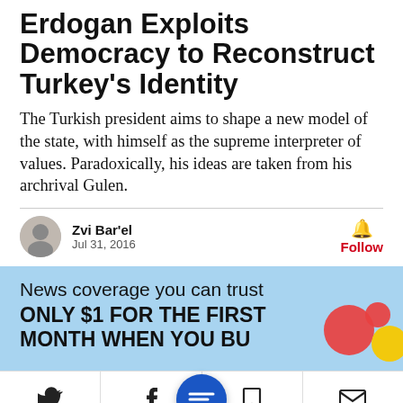Erdogan Exploits Democracy to Reconstruct Turkey's Identity
The Turkish president aims to shape a new model of the state, with himself as the supreme interpreter of values. Paradoxically, his ideas are taken from his archrival Gulen.
Zvi Bar'el
Jul 31, 2016
Follow
[Figure (infographic): Subscription promotion banner: 'News coverage you can trust ONLY $1 FOR THE FIRST MONTH WHEN YOU BUY' with decorative colorful circles on a light blue background]
[Figure (infographic): Social sharing bar with Twitter, Facebook, share (blue circle), bookmark, and email icons]
[Figure (infographic): Advertisement: Up To $75 Off on Goodyear Tires at Virginia Tire & Auto, with tire logo and blue arrow]